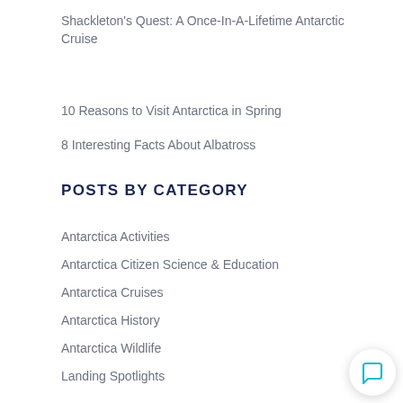Shackleton's Quest: A Once-In-A-Lifetime Antarctic Cruise
10 Reasons to Visit Antarctica in Spring
8 Interesting Facts About Albatross
POSTS BY CATEGORY
Antarctica Activities
Antarctica Citizen Science & Education
Antarctica Cruises
Antarctica History
Antarctica Wildlife
Landing Spotlights
Meet Our Polar Guides & Staff
Planning Your Antarctica Trip